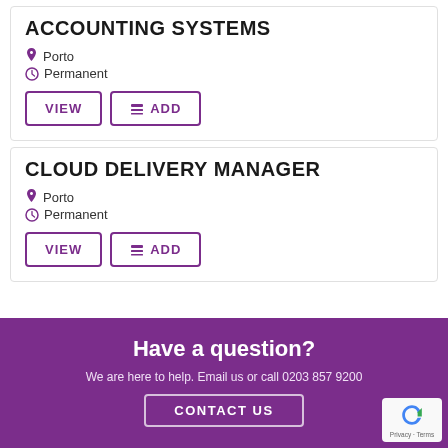ACCOUNTING SYSTEMS
Porto
Permanent
VIEW  ADD
CLOUD DELIVERY MANAGER
Porto
Permanent
VIEW  ADD
Have a question?
We are here to help. Email us or call 0203 857 9200
CONTACT US